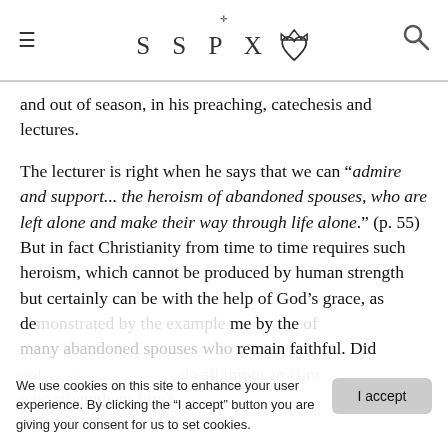SSPX (logo with crown and sacred heart icon)
and out of season, in his preaching, catechesis and lectures.
The lecturer is right when he says that we can "admire and support... the heroism of abandoned spouses, who are left alone and make their way through life alone." (p. 55) But in fact Christianity from time to time requires such heroism, which cannot be produced by human strength but certainly can be with the help of God's grace, as demonstrated by the example of many abandoned spouses who remain faithful. Did not St. Paul say "I can do all things in Him who strengthens him?"
We use cookies on this site to enhance your user experience. By clicking the "I accept" button you are giving your consent for us to set cookies.